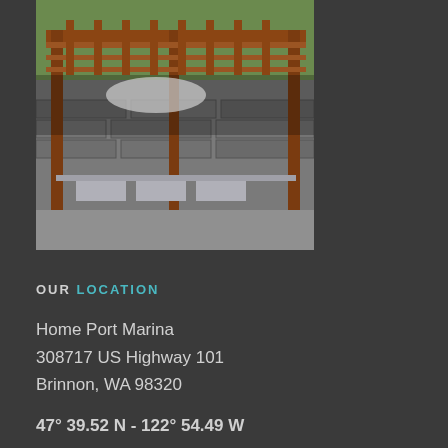[Figure (photo): Outdoor covered pavilion/pergola structure with wooden beams and picnic tables, stone wall in background, trees visible]
OUR LOCATION
Home Port Marina
308717 US Highway 101
Brinnon, WA 98320
47° 39.52 N - 122° 54.49 W
CONTACT
Email
360-680-3051